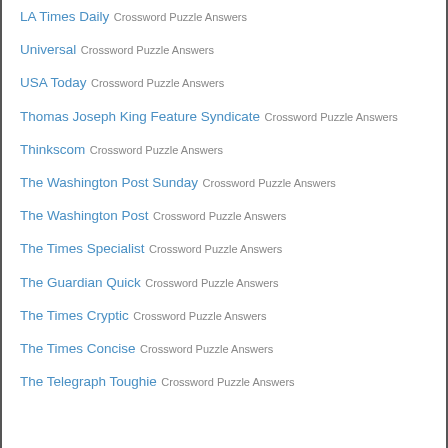LA Times Daily Crossword Puzzle Answers
Universal Crossword Puzzle Answers
USA Today Crossword Puzzle Answers
Thomas Joseph King Feature Syndicate Crossword Puzzle Answers
Thinkscom Crossword Puzzle Answers
The Washington Post Sunday Crossword Puzzle Answers
The Washington Post Crossword Puzzle Answers
The Times Specialist Crossword Puzzle Answers
The Guardian Quick Crossword Puzzle Answers
The Times Cryptic Crossword Puzzle Answers
The Times Concise Crossword Puzzle Answers
The Telegraph Toughie Crossword Puzzle Answers